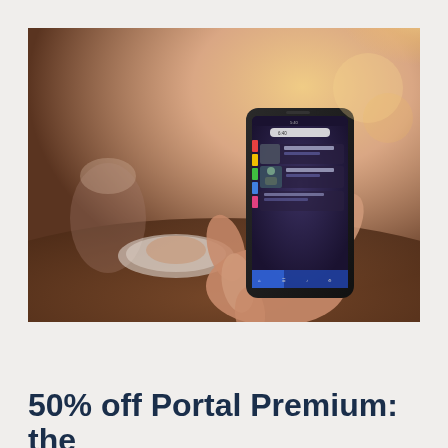[Figure (photo): A person's hand holding a black smartphone displaying a mobile app interface with colorful content items, photographed in a cafe setting with a coffee cup and plate in the background. Warm bokeh lighting.]
50% off Portal Premium: the